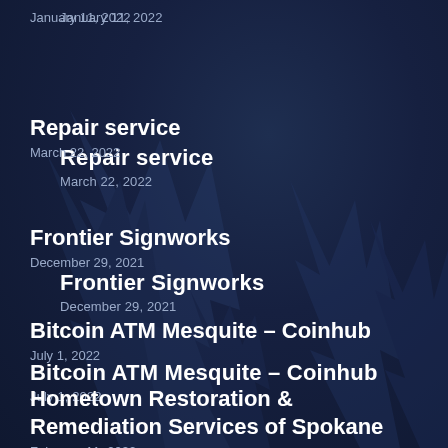January 11, 2022
Repair service
March 22, 2022
Frontier Signworks
December 29, 2021
Bitcoin ATM Mesquite – Coinhub
July 1, 2022
Hometown Restoration & Remediation Services of Spokane
February 11, 2022